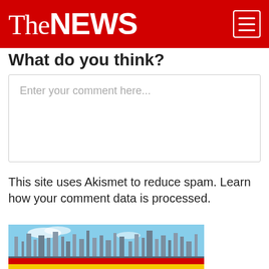TheNEWS
What do you think?
Enter your comment here...
This site uses Akismet to reduce spam. Learn how your comment data is processed.
[Figure (other): NNPC Monthly publication advertisement showing an oil refinery in the background with the Nigerian National Petroleum Corporation logo and the text NNPC MONTHLY on a yellow and red banner]